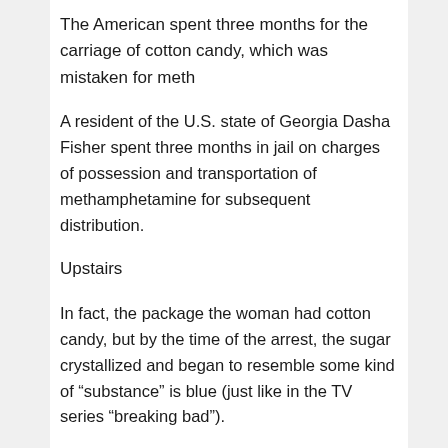The American spent three months for the carriage of cotton candy, which was mistaken for meth
A resident of the U.S. state of Georgia Dasha Fisher spent three months in jail on charges of possession and transportation of methamphetamine for subsequent distribution.
Upstairs
In fact, the package the woman had cotton candy, but by the time of the arrest, the sugar crystallized and began to resemble some kind of “substance” is blue (just like in the TV series “breaking bad”).